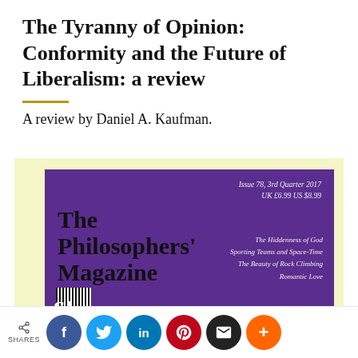The Tyranny of Opinion: Conformity and the Future of Liberalism: a review
A review by Daniel A. Kaufman.
[Figure (illustration): Cover of The Philosophers' Magazine, Issue 78, 3rd Quarter 2017, UK £6.99 US $8.99. Purple cover with large black serif title text 'The Philosophers' Magazine'. Right side lists topics: The Hiddenness of God, Sporting Teams and Space-Time, The Beauty of Rock Climbing, Romantic Love. Barcode at bottom left. Partially visible large white italic text at bottom.]